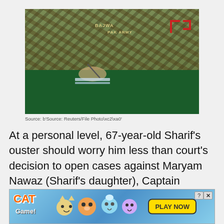[Figure (photo): A person in Pakistan Army camouflage uniform with name tag 'BAJWA' and 'PAK ARMY' patch, signing a document at a green table. A red logo is visible in the upper right background.]
Source: b'Source: Reuters/File Photo\xc2\xa0'
At a personal level, 67-year-old Sharif's ouster should worry him less than court's decision to open cases against Maryam Nawaz (Sharif's daughter), Captain Muhammad Safdar (Maryam's husband), Hassan and Hussain Nawaz (Sharif's sons). This leaves Sharif effectively handicapped of a political heir from his family if the investigations lead to convictions.
[Figure (illustration): Advertisement banner for 'CAT Game!' mobile game featuring cartoon cat characters with a 'PLAY NOW' button on yellow background.]